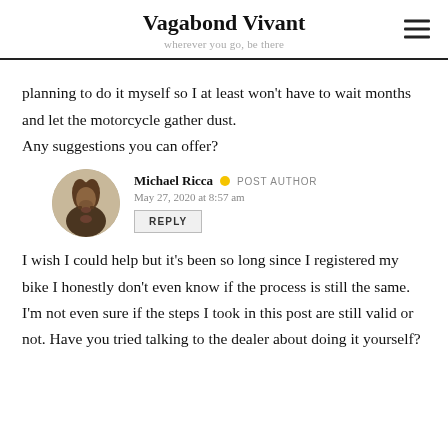Vagabond Vivant
wherever you go, be there
planning to do it myself so I at least won't have to wait months and let the motorcycle gather dust. Any suggestions you can offer?
Michael Ricca • POST AUTHOR
May 27, 2020 at 8:57 am
REPLY
I wish I could help but it's been so long since I registered my bike I honestly don't even know if the process is still the same. I'm not even sure if the steps I took in this post are still valid or not. Have you tried talking to the dealer about doing it yourself?